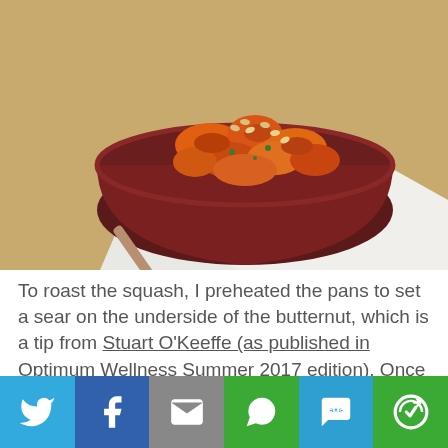[Figure (photo): A dark red glass bowl filled with roasted butternut squash chunks topped with nuts and herbs, with a metal spoon beside it on a white cloth napkin, on a wooden surface.]
To roast the squash, I preheated the pans to set a sear on the underside of the butternut, which is a tip from Stuart O'Keeffe (as published in Optimum Wellness Summer 2017 edition). Once the squash was in the oven, I just had to wait for 40 minutes or so for it to get tender and a nice
[Figure (infographic): Social sharing bar with six buttons: Twitter (blue), Facebook (dark blue), Email (gray), WhatsApp (green), SMS (blue), and More (green).]